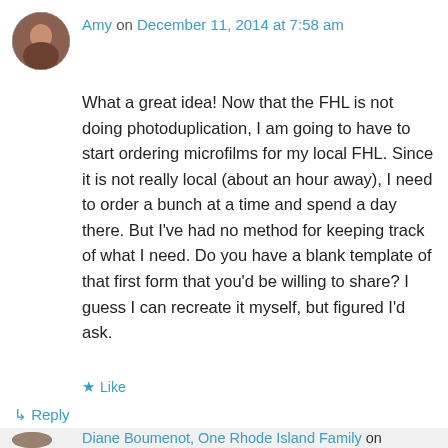[Figure (photo): Round avatar photo of a person, circular crop, brownish tones]
Amy on December 11, 2014 at 7:58 am
What a great idea! Now that the FHL is not doing photoduplication, I am going to have to start ordering microfilms for my local FHL. Since it is not really local (about an hour away), I need to order a bunch at a time and spend a day there. But I've had no method for keeping track of what I need. Do you have a blank template of that first form that you'd be willing to share? I guess I can recreate it myself, but figured I'd ask.
★ Like
↳ Reply
Diane Boumenot, One Rhode Island Family on